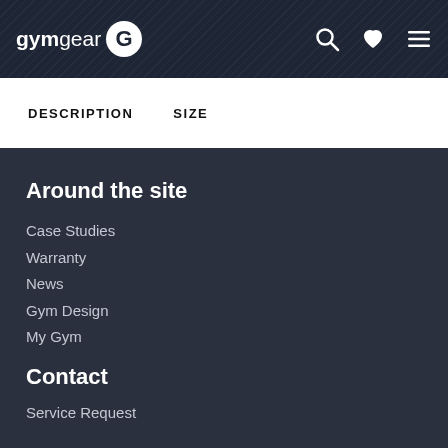gymgear
DESCRIPTION   SIZE
Around the site
Case Studies
Warranty
News
Gym Design
My Gym
Contact
Service Request